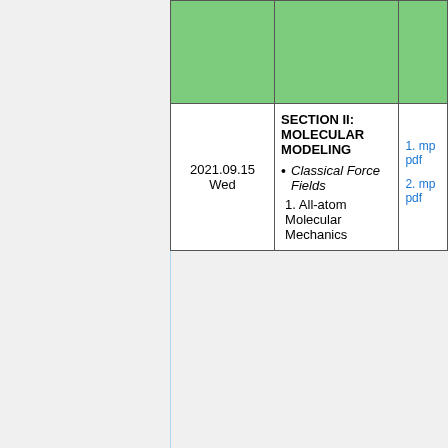|  | Topic | Reading |
| --- | --- | --- |
| 2021.09.15
Wed | SECTION II: MOLECULAR MODELING
• Classical Force Fields
1. All-atom Molecular Mechanics | 1. [link] mp... pdf...
2. [link] mp... pdf... |